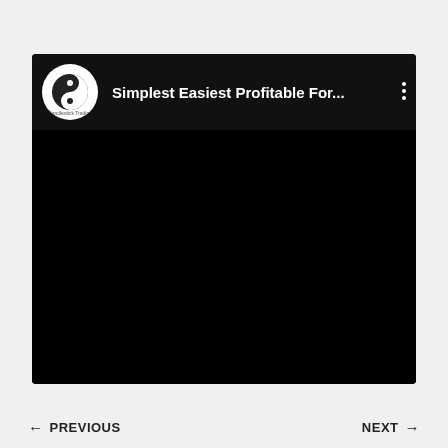[Figure (screenshot): A video thumbnail or embedded video player with a black background. The video header shows a circular avatar/logo for 'Candlestick Trading' channel and the title 'Simplest Easiest Profitable For...' with a three-dot menu icon. The main area of the video is entirely black.]
← PREVIOUS    NEXT →